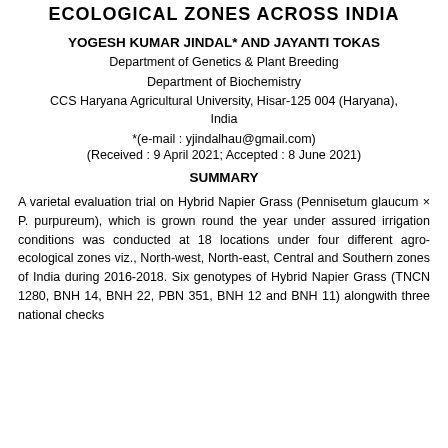ECOLOGICAL ZONES ACROSS INDIA
YOGESH KUMAR JINDAL* AND JAYANTI TOKAS
Department of Genetics & Plant Breeding
Department of Biochemistry
CCS Haryana Agricultural University, Hisar-125 004 (Haryana), India
*(e-mail : yjindalhau@gmail.com)
(Received : 9 April 2021; Accepted : 8 June 2021)
SUMMARY
A varietal evaluation trial on Hybrid Napier Grass (Pennisetum glaucum × P. purpureum), which is grown round the year under assured irrigation conditions was conducted at 18 locations under four different agro-ecological zones viz., North-west, North-east, Central and Southern zones of India during 2016-2018. Six genotypes of Hybrid Napier Grass (TNCN 1280, BNH 14, BNH 22, PBN 351, BNH 12 and BNH 11) alongwith three national checks